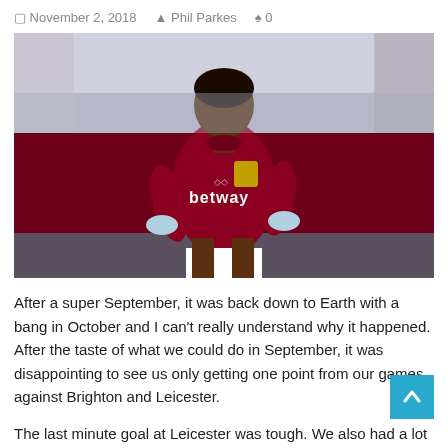November 2, 2018   Phil Parkes   0
[Figure (photo): West Ham United footballer in a dark red Betway-sponsored Umbro kit running during a match, with stadium seating visible in the background.]
After a super September, it was back down to Earth with a bang in October and I can't really understand why it happened. After the taste of what we could do in September, it was disappointing to see us only getting one point from our games against Brighton and Leicester.
The last minute goal at Leicester was tough. We also had a lot